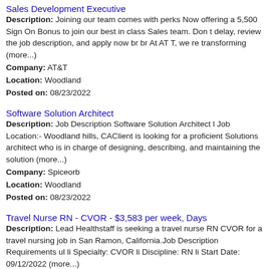Sales Development Executive
Description: Joining our team comes with perks Now offering a 5,500 Sign On Bonus to join our best in class Sales team. Don t delay, review the job description, and apply now br br At AT T, we re transforming (more...)
Company: AT&T
Location: Woodland
Posted on: 08/23/2022
Software Solution Architect
Description: Job Description Software Solution Architect l Job Location:- Woodland hills, CAClient is looking for a proficient Solutions architect who is in charge of designing, describing, and maintaining the solution (more...)
Company: Spiceorb
Location: Woodland
Posted on: 08/23/2022
Travel Nurse RN - CVOR - $3,583 per week, Days
Description: Lead Healthstaff is seeking a travel nurse RN CVOR for a travel nursing job in San Ramon, California.Job Description Requirements ul li Specialty: CVOR li Discipline: RN li Start Date: 09/12/2022 (more...)
Company: Lead Healthstaff